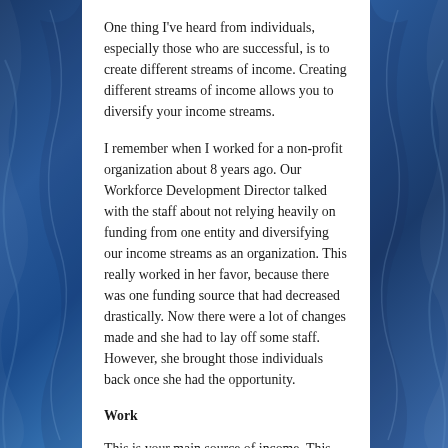One thing I've heard from individuals, especially those who are successful, is to create different streams of income. Creating different streams of income allows you to diversify your income streams.
I remember when I worked for a non-profit organization about 8 years ago. Our Workforce Development Director talked with the staff about not relying heavily on funding from one entity and diversifying our income streams as an organization. This really worked in her favor, because there was one funding source that had decreased drastically. Now there were a lot of changes made and she had to lay off some staff. However, she brought those individuals back once she had the opportunity.
Work
This is your main source of income. This income